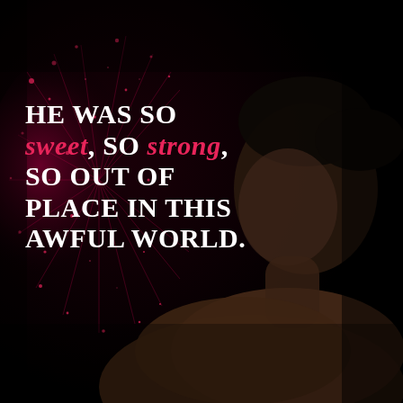[Figure (illustration): Dark atmospheric book quote image featuring a shirtless man with dark hair photographed from the side in moody low-key lighting against a near-black background with red/pink glowing sparks and abstract light trails on the left side.]
He was so sweet, so strong, so out of place in this awful world.